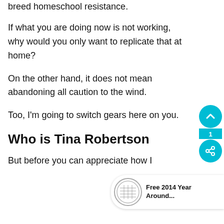breed homeschool resistance.
If what you are doing now is not working, why would you only want to replicate that at home?
On the other hand, it does not mean abandoning all caution to the wind.
Too, I'm going to switch gears here on you.
Who is Tina Robertson
But before you can appreciate how I